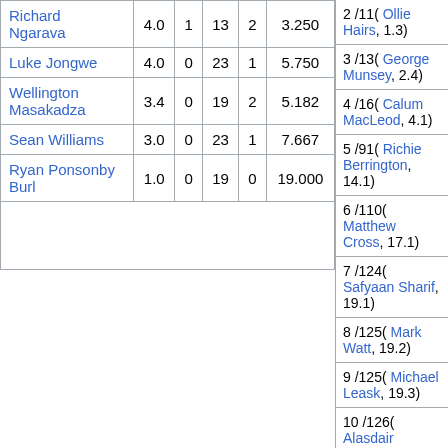| Player | Overs | Maidens | Runs | Wickets | Economy |
| --- | --- | --- | --- | --- | --- |
| Richard Ngarava | 4.0 | 1 | 13 | 2 | 3.250 |
| Luke Jongwe | 4.0 | 0 | 23 | 1 | 5.750 |
| Wellington Masakadza | 3.4 | 0 | 19 | 2 | 5.182 |
| Sean Williams | 3.0 | 0 | 23 | 1 | 7.667 |
| Ryan Ponsonby Burl | 1.0 | 0 | 19 | 0 | 19.000 |
| Fall of wickets |
| --- |
| 2 /11( Ollie Hairs, 1.3) |
| 3 /13( George Munsey, 2.4) |
| 4 /16( Calum MacLeod, 4.1) |
| 5 /91( Richie Berrington, 14.1) |
| 6 /110( Matthew Cross, 17.1) |
| 7 /124( Safyaan Sharif, 19.1) |
| 8 /125( Mark Watt, 19.2) |
| 9 /125( Michael Leask, 19.3) |
| 10 /126( Alasdair... |